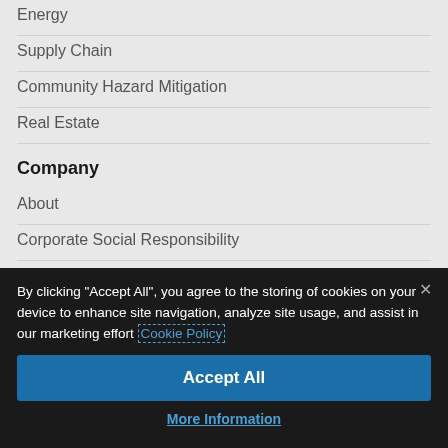Energy
Supply Chain
Community Hazard Mitigation
Real Estate
Company
About
Corporate Social Responsibility
By clicking "Accept All", you agree to the storing of cookies on your device to enhance site navigation, analyze site usage, and assist in our marketing effort Cookie Policy
Accept All
More Information